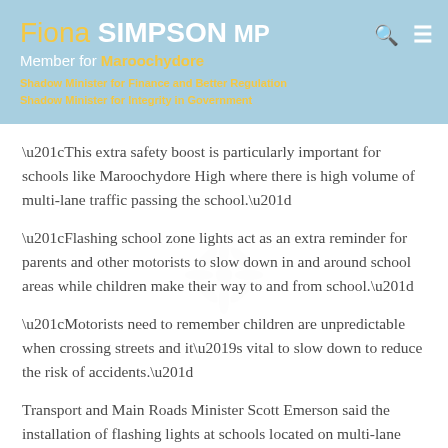Fiona SIMPSON MP
Member for Maroochydore
Shadow Minister for Finance and Better Regulation
Shadow Minister for Integrity in Government
“This extra safety boost is particularly important for schools like Maroochydore High where there is high volume of multi-lane traffic passing the school.”
“Flashing school zone lights act as an extra reminder for parents and other motorists to slow down in and around school areas while children make their way to and from school.”
“Motorists need to remember children are unpredictable when crossing streets and it’s vital to slow down to reduce the risk of accidents.”
Transport and Main Roads Minister Scott Emerson said the installation of flashing lights at schools located on multi-lane roads is in addition to the $10 million commitment announced